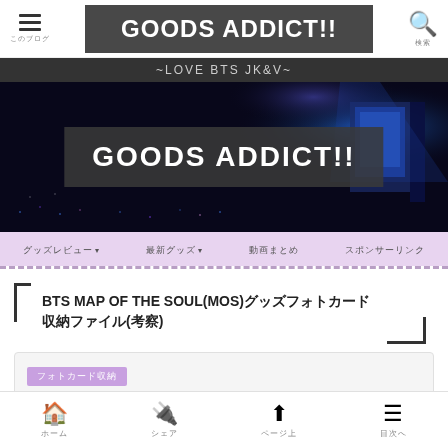GOODS ADDICT!!
~LOVE BTS JK&V~
[Figure (screenshot): Hero banner with dark concert crowd background and 'GOODS ADDICT!!' overlay text in white on dark gray semi-transparent box]
Navigation menu with Japanese text items and dropdown arrows on lavender background
BTS MAP OF THE SOUL(MOS)グッズフォトカード 収納ファイル(考察)
フォトカード収納
Home Share Up Table of Contents